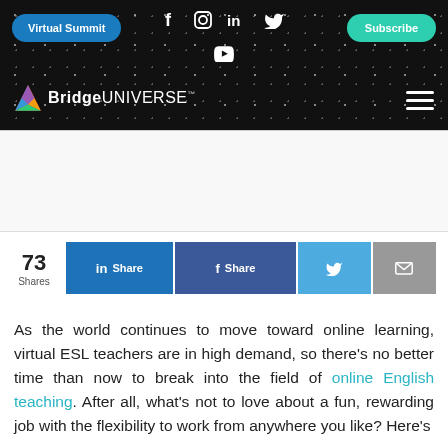Virtual Summit | f | in | Subscribe | BridgeUNIVERSE
[Figure (screenshot): Black starfield navigation header with Virtual Summit button, social media icons (Facebook, Instagram, LinkedIn, Twitter, YouTube), Subscribe button, BridgeUniverse logo, and hamburger menu]
[Figure (screenshot): White ad banner area]
73 Shares | Share on LinkedIn | Share on Facebook | Share on Twitter | Share via Email
As the world continues to move toward online learning, virtual ESL teachers are in high demand, so there’s no better time than now to break into the field of online English teaching. After all, what’s not to love about a fun, rewarding job with the flexibility to work from anywhere you like? Here’s